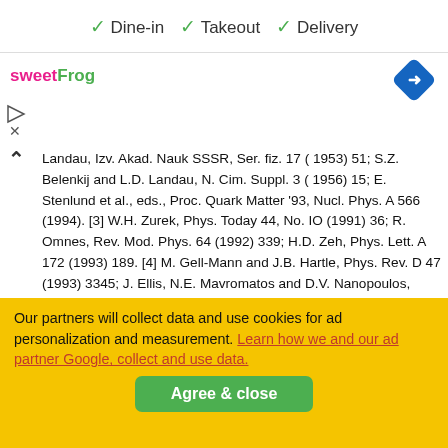✓ Dine-in  ✓ Takeout  ✓ Delivery
[Figure (logo): sweetFrog logo in pink and green text]
[Figure (other): Blue diamond navigation arrow icon]
[Figure (other): Play triangle icon and X close icon (ad controls)]
Landau, Izv. Akad. Nauk SSSR, Ser. fiz. 17 ( 1953) 51; S.Z. Belenkij and L.D. Landau, N. Cim. Suppl. 3 ( 1956) 15; E. Stenlund et al., eds., Proc. Quark Matter '93, Nucl. Phys. A 566 (1994). [3] W.H. Zurek, Phys. Today 44, No. IO (1991) 36; R. Omnes, Rev. Mod. Phys. 64 (1992) 339; H.D. Zeh, Phys. Lett. A 172 (1993) 189. [4] M. Gell-Mann and J.B. Hartle, Phys. Rev. D 47 (1993) 3345; J. Ellis, N.E. Mavromatos and D.V. Nanopoulos, Phys. Lett. B 293 (1992) 37; preprint CERN-TH.7195/94. and references therein. 151 W.H. Zurek and J.P Paz, Phys. Rev. Len. 72 ( 1994) 2508; B. Mttller and A. Trayanov, Phys. Rev. Lett. 68 (1992) 3387. [6] P.M.V.B. Barone and A.O. Caldeira, Phys. Rev. A 43 (1991) 57; J.P. Paz, S. Habib and W.H. Zurek, Phys. Rev. D 47 ( 1993) 488; W.H. Zurek, S. Habib and J.P Paz, Phys. Rev. Lett. 70 (1993) 1187. [7] K. Geiger and B. Mttller, Nucl. Phys. B 369 ( 1992) 600. [S] J.M. Cornwall, R. Jackiw and E. Tomboulis, Phys. Rev. D 10 (1974) 2428;
Our partners will collect data and use cookies for ad personalization and measurement. Learn how we and our ad partner Google, collect and use data.